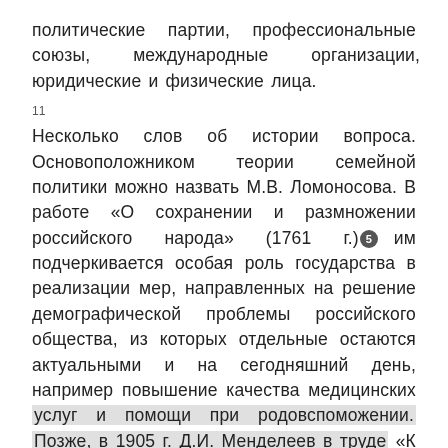политические партии, профессиональные союзы, международные организации, юридические и физические лица.
11
Несколько слов об истории вопроса. Основоположником теории семейной политики можно назвать М.В. Ломоносова. В работе «О сохранении и размножении российского народа» (1761 г.) [5] им подчеркивается особая роль государства в реализации мер, направленных на решение демографической проблемы российского общества, из которых отдельные остаются актуальными и на сегодняшний день, например повышение качества медицинских услуг и помощи при родовспоможении. Позже, в 1905 г. Д.И. Менделеев в труде «К познанию России» [6] предложил вынести